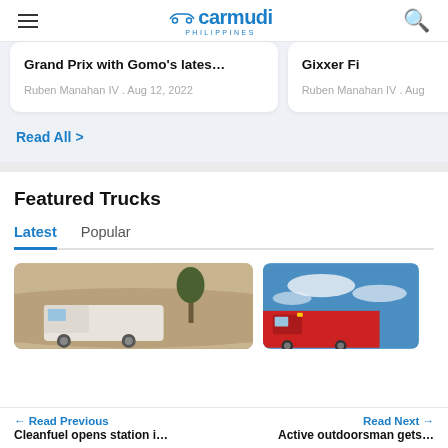carmudi PHILIPPINES
Grand Prix with Gomo's lates…
Ruben Manahan IV . Aug 12, 2022
Gixxer Fi
Ruben Manahan IV . Aug
Read All >
Featured Trucks
Latest   Popular
[Figure (photo): Partial view of a white truck in a desert/sandy landscape with a tree]
[Figure (photo): Partial view of a red semi-truck against a blue sky with clouds]
← Read Previous   Cleanfuel opens station i…      Read Next →   Active outdoorsman gets…